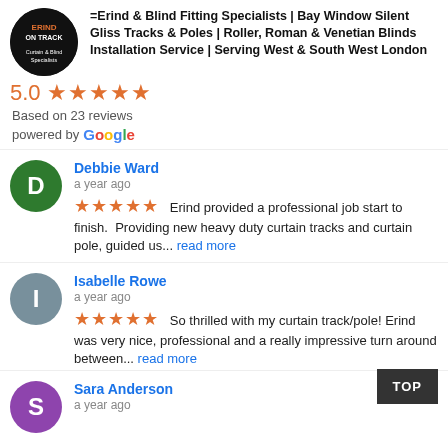=Erind onTrack= Curtain & Blind Fitting Specialists | Bay Window Silent Gliss Tracks & Poles | Roller, Roman & Venetian Blinds Installation Service | Serving West & South West London
5.0 ★★★★★
Based on 23 reviews
powered by Google
Debbie Ward
a year ago
★★★★★ Erind provided a professional job start to finish.  Providing new heavy duty curtain tracks and curtain pole, guided us... read more
Isabelle Rowe
a year ago
★★★★★ So thrilled with my curtain track/pole! Erind was very nice, professional and a really impressive turn around between... read more
Sara Anderson
a year ago